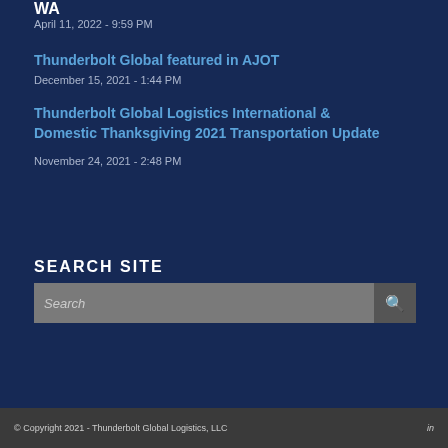WA
April 11, 2022 - 9:59 PM
Thunderbolt Global featured in AJOT
December 15, 2021 - 1:44 PM
Thunderbolt Global Logistics International & Domestic Thanksgiving 2021 Transportation Update
November 24, 2021 - 2:48 PM
SEARCH SITE
© Copyright 2021 - Thunderbolt Global Logistics, LLC